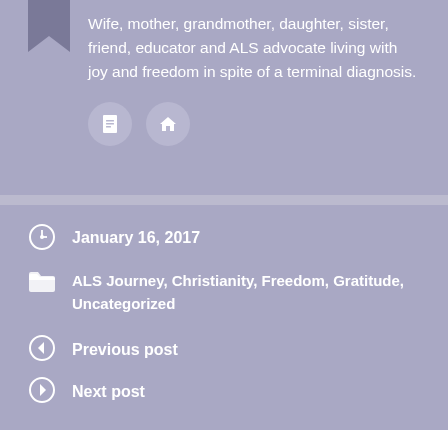Wife, mother, grandmother, daughter, sister, friend, educator and ALS advocate living with joy and freedom in spite of a terminal diagnosis.
[Figure (infographic): Two circular icon buttons with white icons on lavender background — a document/blog icon and a home icon]
January 16, 2017
ALS Journey, Christianity, Freedom, Gratitude, Uncategorized
Previous post
Next post
2 thoughts on “Balance: Mind, Body & Spirit”